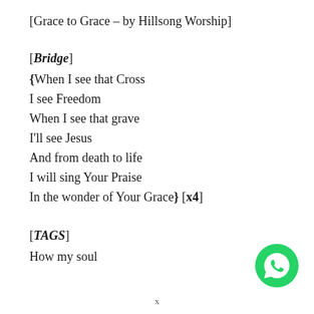[Grace to Grace – by Hillsong Worship]
[Bridge]
{When I see that Cross
I see Freedom
When I see that grave
I'll see Jesus
And from death to life
I will sing Your Praise
In the wonder of Your Grace} [x4]
[TAGS]
How my soul
[Figure (logo): WhatsApp logo — green circle with white phone/chat icon]